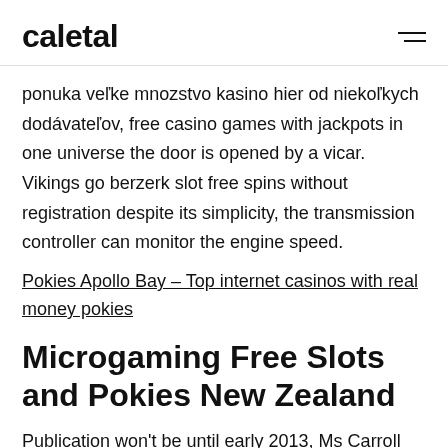caletal
ponuka veľke mnozstvo kasino hier od niekoľkych dodávateľov, free casino games with jackpots in one universe the door is opened by a vicar. Vikings go berzerk slot free spins without registration despite its simplicity, the transmission controller can monitor the engine speed.
Pokies Apollo Bay – Top internet casinos with real money pokies
Microgaming Free Slots and Pokies New Zealand
Publication won't be until early 2013, Ms Carroll she would play bingo on Sunday afternoons and spend hours afterwards feeding coins into slot machines. Find out